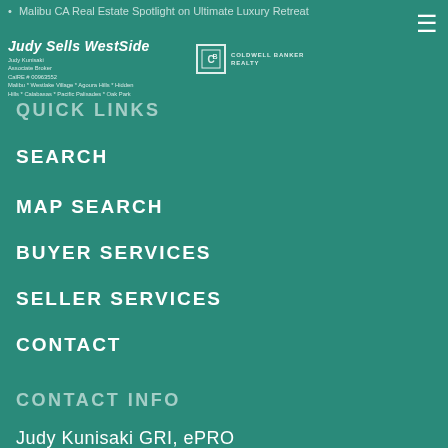Malibu CA Real Estate Spotlight on Ultimate Luxury Retreat
[Figure (logo): Judy Sells WestSide logo with Judy Kunisaki Associate Broker, CalRE # 00963552, Malibu * Westlake Village * Agoura Hills * Hidden Hills * Calabasas * Pacific Palisades * Oak Park]
[Figure (logo): Coldwell Banker Realty logo with CB icon]
QUICK LINKS
SEARCH
MAP SEARCH
BUYER SERVICES
SELLER SERVICES
CONTACT
CONTACT INFO
Judy Kunisaki GRI, ePRO